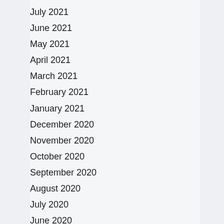July 2021
June 2021
May 2021
April 2021
March 2021
February 2021
January 2021
December 2020
November 2020
October 2020
September 2020
August 2020
July 2020
June 2020
May 2020
April 2020
March 2020
February 2020
January 2020